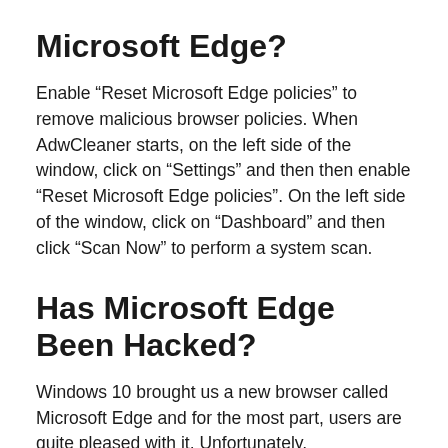Microsoft Edge?
Enable “Reset Microsoft Edge policies” to remove malicious browser policies. When AdwCleaner starts, on the left side of the window, click on “Settings” and then then enable “Reset Microsoft Edge policies”. On the left side of the window, click on “Dashboard” and then click “Scan Now” to perform a system scan.
Has Microsoft Edge Been Hacked?
Windows 10 brought us a new browser called Microsoft Edge and for the most part, users are quite pleased with it. Unfortunately,